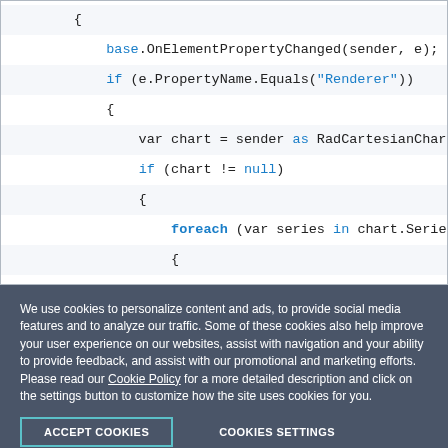[Figure (screenshot): Code snippet showing C# code with keywords base, if, var, foreach, in, null, as highlighted in blue. Lines include base.OnElementPropertyChanged(sender, e);, if (e.PropertyName.Equals("Renderer")), var chart = sender as RadCartesianChart;, if (chart != null), foreach (var series in chart.Series), if (series as Portable.CandlestickS...]
We use cookies to personalize content and ads, to provide social media features and to analyze our traffic. Some of these cookies also help improve your user experience on our websites, assist with navigation and your ability to provide feedback, and assist with our promotional and marketing efforts. Please read our Cookie Policy for a more detailed description and click on the settings button to customize how the site uses cookies for you.
ACCEPT COOKIES
COOKIES SETTINGS